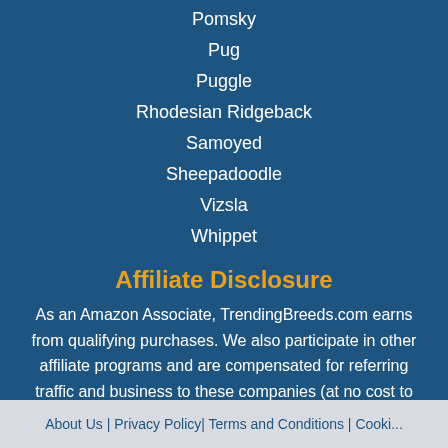Pomsky
Pug
Puggle
Rhodesian Ridgeback
Samoyed
Sheepadoodle
Vizsla
Whippet
Affiliate Disclosure
As an Amazon Associate, TrendingBreeds.com earns from qualifying purchases. We also participate in other affiliate programs and are compensated for referring traffic and business to these companies (at no cost to you).
About Us | Privacy Policy| Terms and Conditions | Cooki...